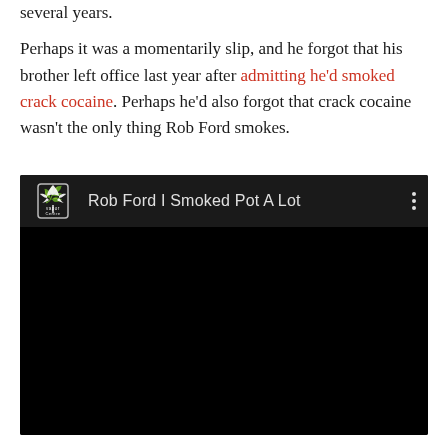several years. Perhaps it was a momentarily slip, and he forgot that his brother left office last year after admitting he'd smoked crack cocaine. Perhaps he'd also forgot that crack cocaine wasn't the only thing Rob Ford smokes.
[Figure (screenshot): A YouTube-style video embed with dark background showing title 'Rob Ford I Smoked Pot A Lot' with a cannabis leaf logo on the left and a three-dot menu icon on the right. The video content area is black.]